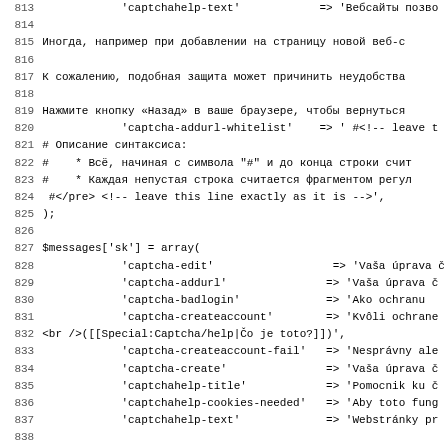[Figure (screenshot): Code viewer showing lines 813-844 of a PHP/MediaWiki localization file with mixed Russian and Slovak language string arrays, displayed in monospace font with line numbers on the left.]